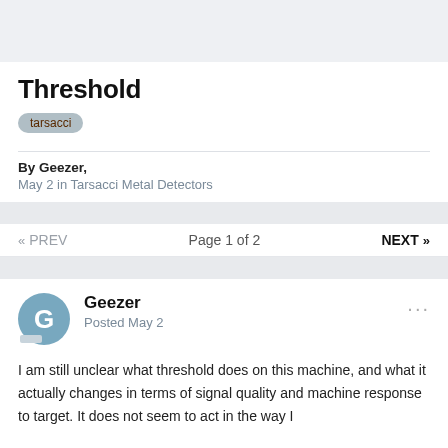Threshold
tarsacci
By Geezer,
May 2 in Tarsacci Metal Detectors
« PREV   Page 1 of 2   NEXT »
Geezer
Posted May 2
I am still unclear what threshold does on this machine, and what it actually changes in terms of signal quality and machine response to target. It does not seem to act in the way I